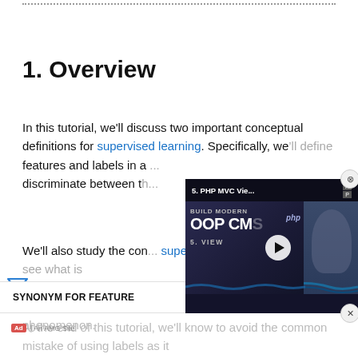1. Overview
In this tutorial, we'll discuss two important conceptual definitions for supervised learning. Specifically, we'll define features and labels in a ... discriminate between th...
[Figure (screenshot): Video popup overlay showing '5. PHP MVC Vie...' with 'BUILD MODERN OOP CM' text and a play button, with a PHP badge and a person visible on the right side.]
We'll also study the conc... supervised learning tas... and see what is their relationship with our research objectives and our prior knowledge of a phenomenon.
SYNONYM FOR FEATURE
At the end of this tutorial, we'll know to avoid the common mistake of using labels as it